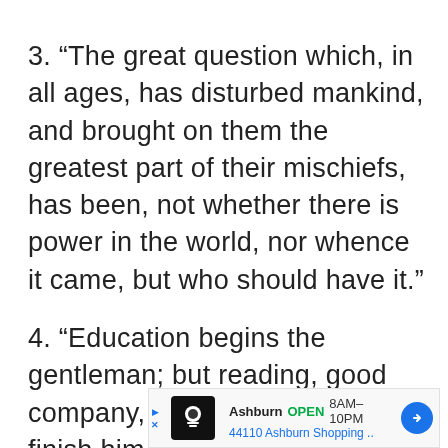3. “The great question which, in all ages, has disturbed mankind, and brought on them the greatest part of their mischiefs, has been, not whether there is power in the world, nor whence it came, but who should have it.”
4. “Education begins the gentleman; but reading, good company, and reflection must finish him.”
[Figure (other): Advertisement banner for Ashburn location showing store icon, OPEN status, hours 8AM-10PM, address 44110 Ashburn Shopping, and navigation arrow button]